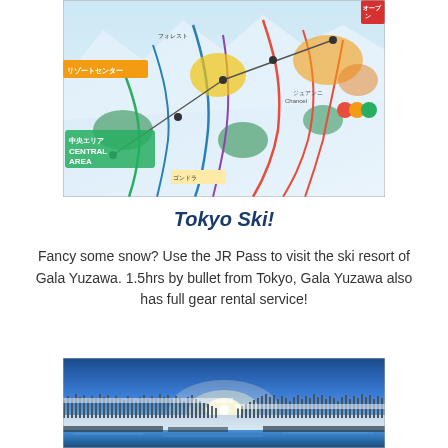[Figure (map): Ski trail map of Gala Yuzawa ski resort showing central area (中央エリア CENTRAL AREA) with colored runs, lifts, gondolas and Japanese text labels]
Tokyo Ski!
Fancy some snow? Use the JR Pass to visit the ski resort of Gala Yuzawa. 1.5hrs by bullet from Tokyo, Gala Yuzawa also has full gear rental service!
[Figure (photo): Winter landscape photo showing snow-covered trees and a blue reflective lake or pond under a clear blue sky with sunlight on the horizon]